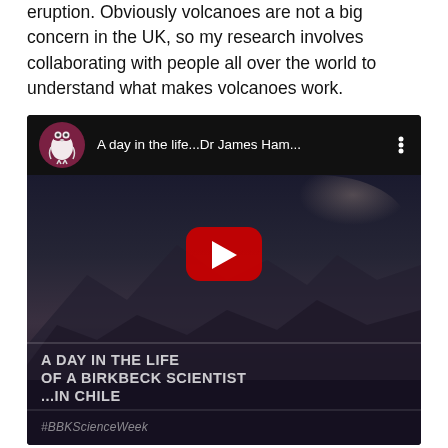eruption. Obviously volcanoes are not a big concern in the UK, so my research involves collaborating with people all over the world to understand what makes volcanoes work.
[Figure (screenshot): Embedded YouTube video thumbnail showing 'A day in the life...Dr James Ham...' with Birkbeck University owl logo, a dark volcanic landscape in Chile at dusk, a red YouTube play button, and text overlay reading 'A DAY IN THE LIFE OF A BIRKBECK SCIENTIST ...IN CHILE' with '#BBKScienceWeek' hashtag.]